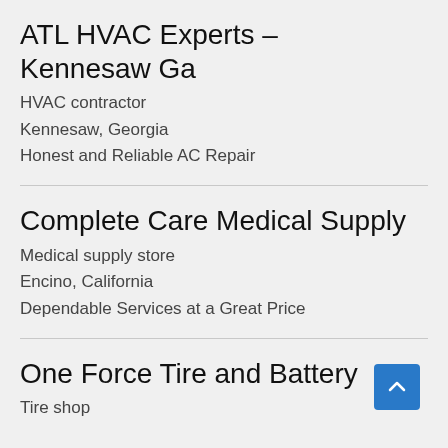ATL HVAC Experts – Kennesaw Ga
HVAC contractor
Kennesaw, Georgia
Honest and Reliable AC Repair
Complete Care Medical Supply
Medical supply store
Encino, California
Dependable Services at a Great Price
One Force Tire and Battery
Tire shop